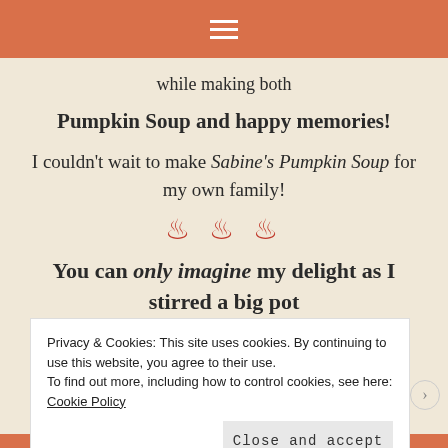☰
while making both
Pumpkin Soup and happy memories!
I couldn't wait to make Sabine's Pumpkin Soup for my own family!
[Figure (other): Three steam/wave emoji icons in red]
You can only imagine my delight as I stirred a big pot of pumpkin soup,
Privacy & Cookies: This site uses cookies. By continuing to use this website, you agree to their use. To find out more, including how to control cookies, see here: Cookie Policy
Close and accept